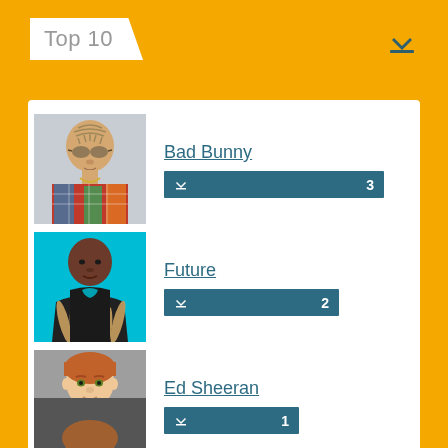Top 10
[Figure (photo): Portrait of Bad Bunny wearing round sunglasses and a colorful patterned shirt]
Bad Bunny
↓ 3
[Figure (photo): Portrait of Future wearing a black hoodie with light-colored dreadlocks against a cyan background]
Future
↓ 2
[Figure (photo): Portrait of Ed Sheeran with ginger hair wearing a black shirt against a grey background]
Ed Sheeran
↓ 1
[Figure (photo): Partial photo of a fourth artist, only the top of the head visible at the bottom of the page]